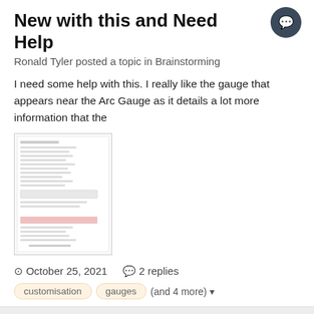New with this and Need Help
Ronald Tyler posted a topic in Brainstorming
I need some help with this. I really like the gauge that appears near the Arc Gauge as it details a lot more information that the
[Figure (screenshot): A screenshot of a software settings or properties panel]
October 25, 2021  2 replies
customisation  gauges  (and 4 more)
Images come and go (Gimp PNG export)
gbubrodieman posted a topic in Bug reports
I have several images and several come and go. I did notice